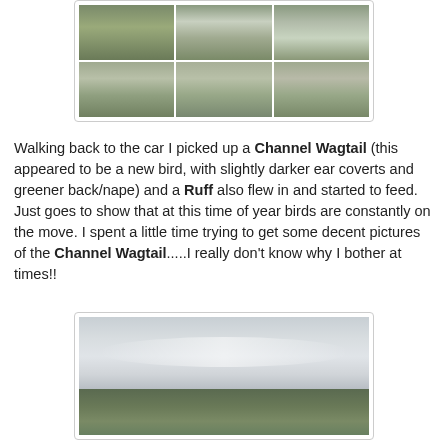[Figure (photo): Grid of 6 bird photos (2 rows × 3 columns) showing birds near a fence/vegetation area]
Walking back to the car I picked up a Channel Wagtail (this appeared to be a new bird, with slightly darker ear coverts and greener back/nape) and a Ruff also flew in and started to feed. Just goes to show that at this time of year birds are constantly on the move. I spent a little time trying to get some decent pictures of the Channel Wagtail.....I really don't know why I bother at times!!
[Figure (photo): Landscape photo showing a wide open field or wetland with a large cloudy sky and flat green/brown ground]